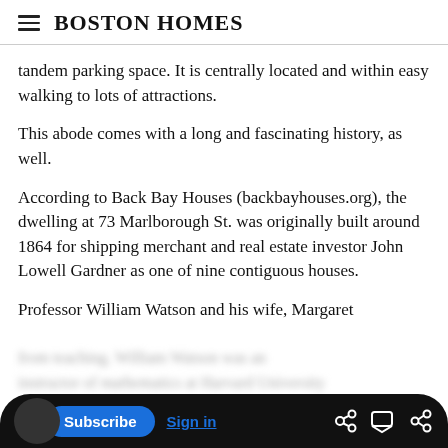Boston Homes
tandem parking space. It is centrally located and within easy walking to lots of attractions.
This abode comes with a long and fascinating history, as well.
According to Back Bay Houses (backbayhouses.org), the dwelling at 73 Marlborough St. was originally built around 1864 for shipping merchant and real estate investor John Lowell Gardner as one of nine contiguous houses.
Professor William Watson and his wife, Margaret
instructor of mathematics at Harvard University